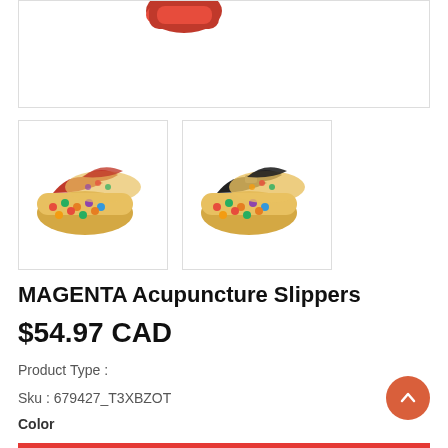[Figure (photo): Partial view of a red acupuncture slipper at the top of the page, cropped]
[Figure (photo): Thumbnail of red acupuncture slippers with colorful dot massage points on soles]
[Figure (photo): Thumbnail of black acupuncture slippers with colorful dot massage points on soles]
MAGENTA Acupuncture Slippers
$54.97 CAD
Product Type :
Sku : 679427_T3XBZOT
Color